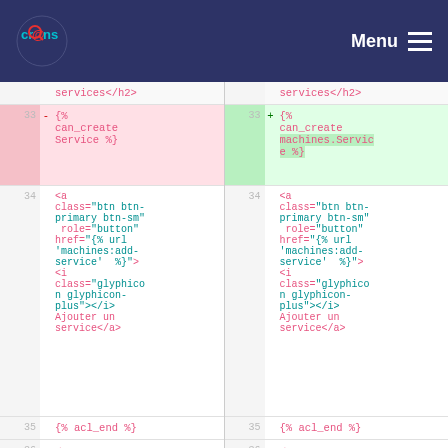Cr@ns Menu
Diff view showing code changes between two versions of a template file. Lines 33-36 shown with removed/added highlighting.
| line-left | sign | code-left | line-right | sign | code-right |
| --- | --- | --- | --- | --- | --- |
|  |  | services</h2> |  |  | services</h2> |
| 33 | - | {% can_create Service %} | 33 | + | {% can_create machines.Service %} |
| 34 |  | <a class="btn btn-primary btn-sm" role="button" href="{% url 'machines:add-service'  %}"><i class="glyphicon glyphicon-plus"></i> Ajouter un service</a> | 34 |  | <a class="btn btn-primary btn-sm" role="button" href="{% url 'machines:add-service'  %}"><i class="glyphicon glyphicon-plus"></i> Ajouter un service</a> |
| 35 |  | {% acl_end %} | 35 |  | {% acl_end %} |
| 36 |  | <a | 36 |  | <a |